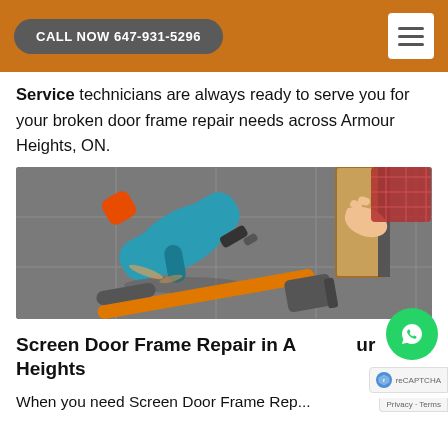CALL NOW 647-931-5296
Service technicians are always ready to serve you for your broken door frame repair needs across Armour Heights, ON.
[Figure (photo): A cordless electric drill (teal/blue with orange accents) lying on a tiled floor next to a hammer with an orange handle, and a person's hands working on a wooden door frame]
Screen Door Frame Repair in Armour Heights
When you need Screen Door Frame Repair in Armour Heights, ON, Door Repair A...